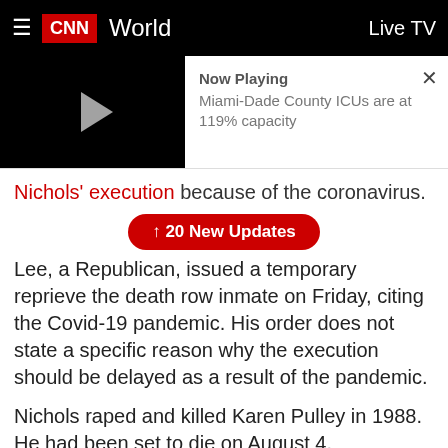≡  CNN  World  Live TV
[Figure (screenshot): Video player thumbnail showing a black background with a grey play triangle on the left, and 'Now Playing' label with text 'Miami-Dade County ICUs are at 119% capacity' on the right, with an X close button.]
Nichols' execution because of the coronavirus.
↑ 20 New Updates
Lee, a Republican, issued a temporary reprieve the death row inmate on Friday, citing the Covid-19 pandemic. His order does not state a specific reason why the execution should be delayed as a result of the pandemic.
Nichols raped and killed Karen Pulley in 1988. He had been set to die on August 4.
"I am granting Harold Wayne Nichols a temporary reprieve from execution until December 31, 2020, due